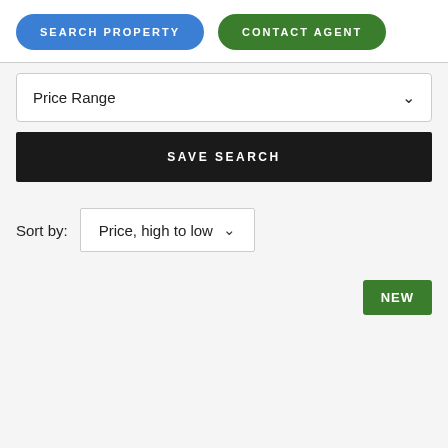SEARCH PROPERTY
CONTACT AGENT
Price Range
SAVE SEARCH
Sort by: Price, high to low
NEW